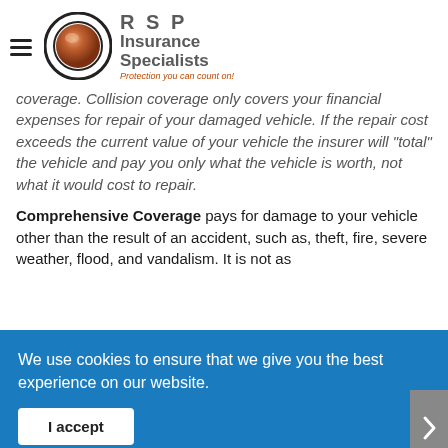RSP Insurance Specialists - Protection you can count on!
coverage. Collision coverage only covers your financial expenses for repair of your damaged vehicle. If the repair cost exceeds the current value of your vehicle the insurer will "total" the vehicle and pay you only what the vehicle is worth, not what it would cost to repair.
Comprehensive Coverage pays for damage to your vehicle other than the result of an accident, such as, theft, fire, severe weather, flood, and vandalism. It is not as
We use cookies to ensure that we give you the best experience on our website.
I accept
e is or
Medical Payments Coverage pays for the medical and